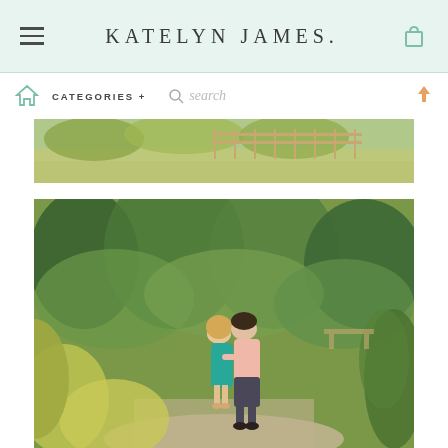KATELYN JAMES.
[Figure (screenshot): Website navigation bar with home icon, CATEGORIES +, search field, and up arrow]
[Figure (photo): Partial top photo strip showing outdoor scene with fence and water]
[Figure (photo): Couple standing in a garden path with lush green plants and trees. Woman in teal dress, man in pink shirt and dark trousers.]